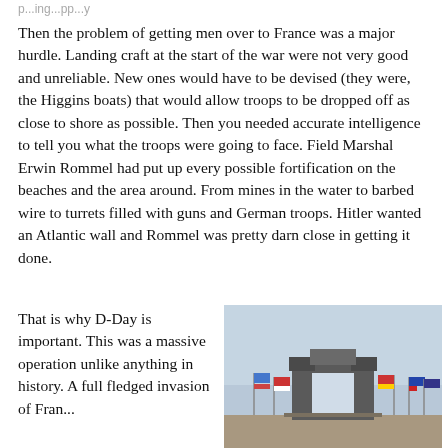p...ing...pp...y
Then the problem of getting men over to France was a major hurdle. Landing craft at the start of the war were not very good and unreliable. New ones would have to be devised (they were, the Higgins boats) that would allow troops to be dropped off as close to shore as possible. Then you needed accurate intelligence to tell you what the troops were going to face. Field Marshal Erwin Rommel had put up every possible fortification on the beaches and the area around. From mines in the water to barbed wire to turrets filled with guns and German troops. Hitler wanted an Atlantic wall and Rommel was pretty darn close in getting it done.
That is why D-Day is important. This was a massive operation unlike anything in history. A full fledged invasion of Fran... ...ide No...
[Figure (photo): Photograph of a D-Day memorial monument with flags in the background under a cloudy sky.]